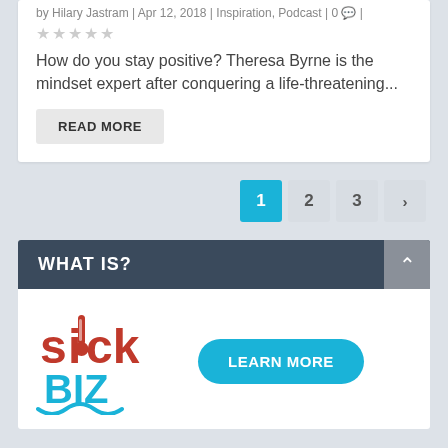by Hilary Jastram | Apr 12, 2018 | Inspiration, Podcast | 0 💬 |
★★★★★
How do you stay positive? Theresa Byrne is the mindset expert after conquering a life-threatening...
READ MORE
1  2  3  >
WHAT IS?
[Figure (logo): SickBiz logo in red and cyan/teal colors]
LEARN MORE